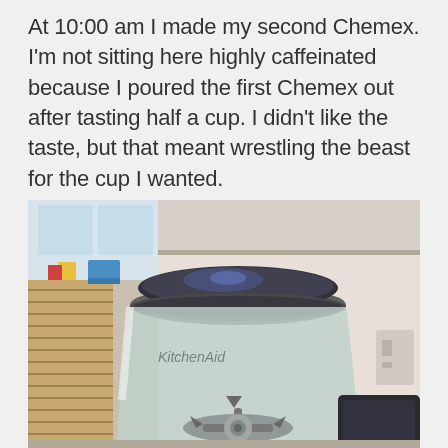At 10:00 am I made my second Chemex. I'm not sitting here highly caffeinated because I poured the first Chemex out after tasting half a cup. I didn't like the taste, but that meant wrestling the beast for the cup I wanted.
[Figure (photo): Close-up photo of a KitchenAid blender jar with a dark lid, sitting on a kitchen counter. The blender has a glass container with the KitchenAid logo visible. In the background are kitchen items and a window.]